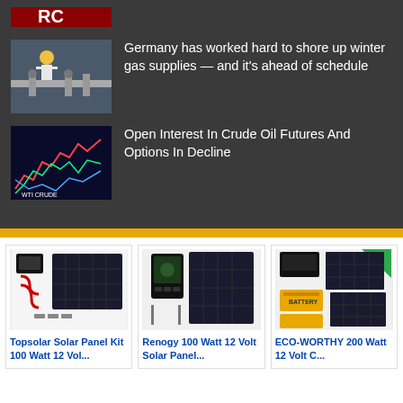[Figure (photo): Partial view of a red logo/sign, cropped at top]
[Figure (photo): Worker in yellow hard hat near industrial gas pipes/equipment]
Germany has worked hard to shore up winter gas supplies — and it's ahead of schedule
[Figure (photo): Stock market display screen showing WTI Crude oil chart with colorful lines]
Open Interest In Crude Oil Futures And Options In Decline
[Figure (photo): Topsolar Solar Panel Kit 100 Watt 12 Vol... product image showing solar panel and accessories]
Topsolar Solar Panel Kit 100 Watt 12 Vol...
[Figure (photo): Renogy 100 Watt 12 Volt Solar Panel... product image showing solar panel and charge controller]
Renogy 100 Watt 12 Volt Solar Panel...
[Figure (photo): ECO-WORTHY 200 Watt 12 Volt C... product image showing solar panels and batteries]
ECO-WORTHY 200 Watt 12 Volt C...